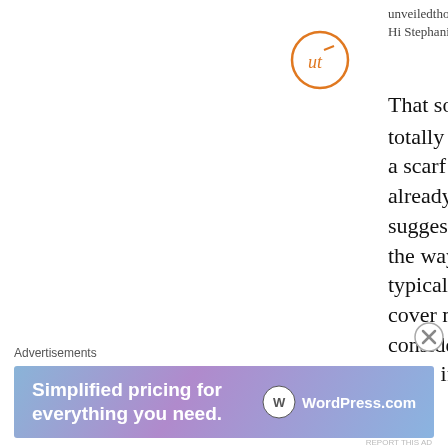[Figure (logo): Avatar/logo circle with stylized 'ut' initials in orange on white background with orange border]
unveiledthought said:
Hi Stephanie

That sounds like a lovely idea 🙂 It's totally appropriate for you to give her a scarf as a gift. I know that you already have a scarf in mind, but one suggestion is that you pay attention to the way she wears her scarf – does she typically wear longer scarves that cover more of her chest? If so, consider giving her a longer scarf. Also, if her scarves are
Advertisements
[Figure (screenshot): WordPress.com advertisement banner with gradient blue-purple background, text 'Simplified pricing for everything you need.' and WordPress.com logo]